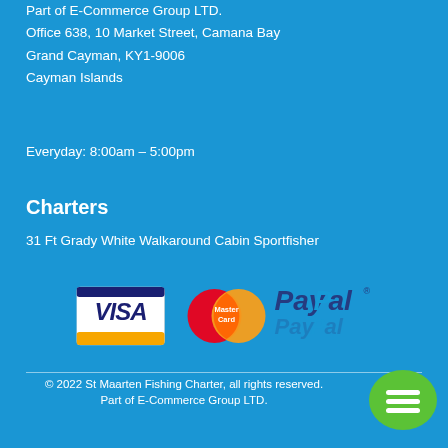Part of E-Commerce Group LTD.
Office 638, 10 Market Street, Camana Bay
Grand Cayman, KY1-9006
Cayman Islands
Everyday: 8:00am – 5:00pm
Charters
31 Ft Grady White Walkaround Cabin Sportfisher
[Figure (logo): Payment logos: VISA, MasterCard, PayPal]
© 2022 St Maarten Fishing Charter, all rights reserved. Part of E-Commerce Group LTD.